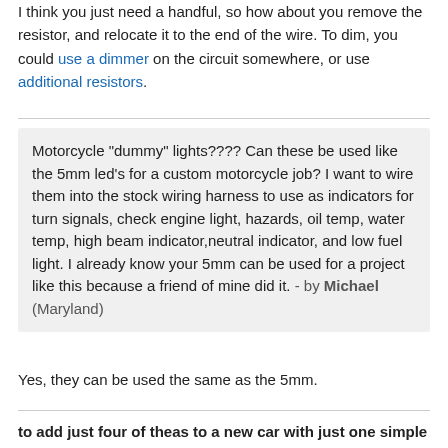I think you just need a handful, so how about you remove the resistor, and relocate it to the end of the wire. To dim, you could use a dimmer on the circuit somewhere, or use additional resistors.
Motorcycle "dummy" lights???? Can these be used like the 5mm led's for a custom motorcycle job? I want to wire them into the stock wiring harness to use as indicators for turn signals, check engine light, hazards, oil temp, water temp, high beam indicator,neutral indicator, and low fuel light. I already know your 5mm can be used for a project like this because a friend of mine did it. - by Michael (Maryland)
Yes, they can be used the same as the 5mm.
to add just four of theas to a new car with just one simple